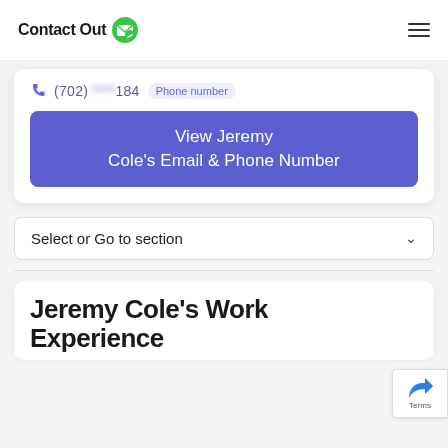Contact Out
(702) ****184  Phone number
View Jeremy Cole's Email & Phone Number
Select or Go to section
Jeremy Cole's Work Experience